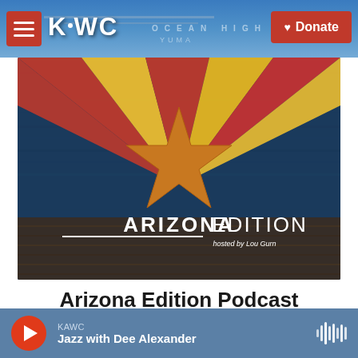KAWC | Donate
[Figure (screenshot): Arizona Edition Podcast promotional image featuring the Arizona state flag with radiating red and yellow rays on dark blue wooden background, an orange star in the center, and 'ARIZONA EDITION hosted by Lou Gurn' text overlay]
Arizona Edition Podcast
KAWC | Jazz with Dee Alexander